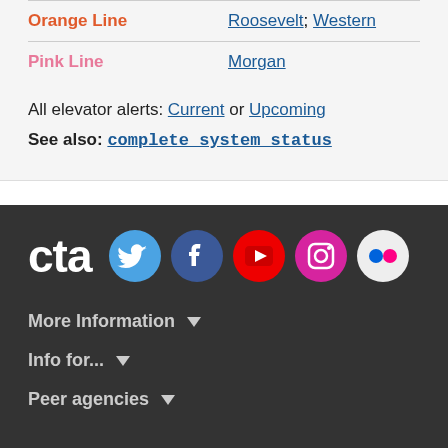| Line | Stations |
| --- | --- |
| Orange Line | Roosevelt; Western |
| Pink Line | Morgan |
All elevator alerts: Current or Upcoming
See also: complete system status
[Figure (logo): CTA logo and social media icons: Twitter, Facebook, YouTube, Instagram, Flickr]
More Information ▾
Info for... ▾
Peer agencies ▾